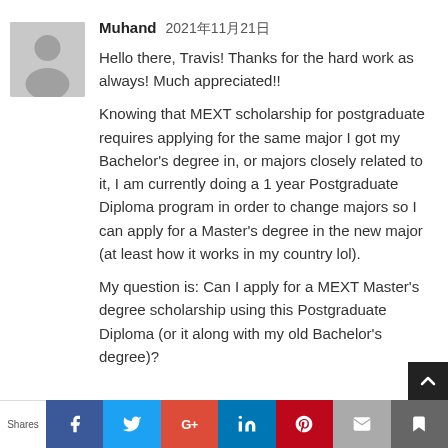[Figure (illustration): Generic user avatar placeholder — gray square with silhouette of a person (head and shoulders)]
Muhand 2021年11月21日
Hello there, Travis! Thanks for the hard work as always! Much appreciated!!
Knowing that MEXT scholarship for postgraduate requires applying for the same major I got my Bachelor's degree in, or majors closely related to it, I am currently doing a 1 year Postgraduate Diploma program in order to change majors so I can apply for a Master's degree in the new major (at least how it works in my country lol).
My question is: Can I apply for a MEXT Master's degree scholarship using this Postgraduate Diploma (or it along with my old Bachelor's degree)?
Shares  f  t  G+  in  P  [mail]  [bookmark]